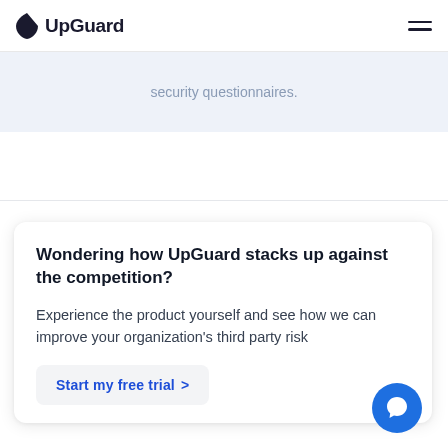UpGuard
security questionnaires.
Wondering how UpGuard stacks up against the competition?
Experience the product yourself and see how we can improve your organization's third party risk
Start my free trial >